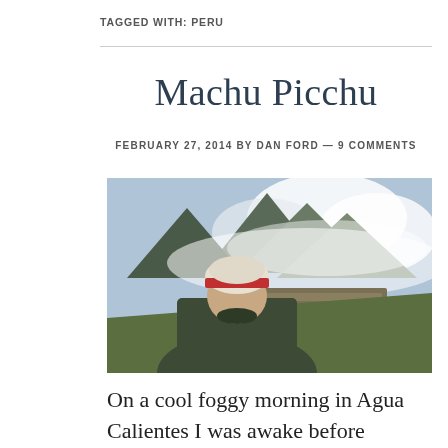TAGGED WITH: PERU
Machu Picchu
FEBRUARY 27, 2014 BY DAN FORD — 9 COMMENTS
[Figure (photo): Person viewed from behind wearing a knitted hat with a red stripe, looking out over Machu Picchu ruins with mountains and mist/clouds in the background]
On a cool foggy morning in Agua Calientes I was awake before sunrise and